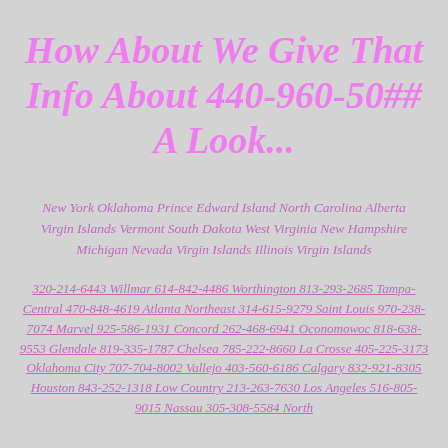How About We Give That Info About 440-960-50## A Look...
New York Oklahoma Prince Edward Island North Carolina Alberta Virgin Islands Vermont South Dakota West Virginia New Hampshire Michigan Nevada Virgin Islands Illinois Virgin Islands
320-214-6443 Willmar 614-842-4486 Worthington 813-293-2685 Tampa-Central 470-848-4619 Atlanta Northeast 314-615-9279 Saint Louis 970-238-7074 Marvel 925-586-1931 Concord 262-468-6941 Oconomowoc 818-638-9553 Glendale 819-335-1787 Chelsea 785-222-8660 La Crosse 405-225-3173 Oklahoma City 707-704-8002 Vallejo 403-560-6186 Calgary 832-921-8305 Houston 843-252-1318 Low Country 213-263-7630 Los Angeles 516-805-9015 Nassau 305-308-5584 North